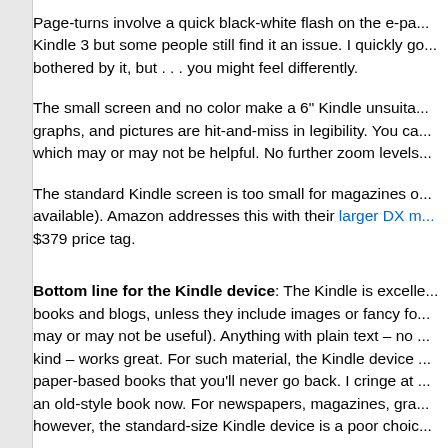Page-turns involve a quick black-white flash on the e-pa... Kindle 3 but some people still find it an issue. I quickly go... bothered by it, but . . . you might feel differently.
The small screen and no color make a 6" Kindle unsuita... graphs, and pictures are hit-and-miss in legibility. You ca... which may or may not be helpful. No further zoom levels...
The standard Kindle screen is too small for magazines o... available). Amazon addresses this with their larger DX m... $379 price tag.
Bottom line for the Kindle device: The Kindle is excelle... books and blogs, unless they include images or fancy fo... may or may not be useful). Anything with plain text – no ... kind – works great. For such material, the Kindle device ... paper-based books that you'll never go back. I cringe at ... an old-style book now. For newspapers, magazines, gra... however, the standard-size Kindle device is a poor choic...
Kindle for PC
A free download from Amazon, this software brings most...